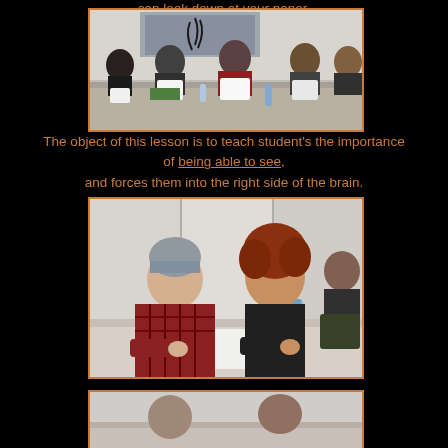can look down at your paper.
[Figure (photo): Students sitting at a table holding up their drawings/papers to cover their faces, with a projector screen showing an image in the background]
The object of this lesson is to teach student's the importance of being able to see, and forces them into the right side of the brain.
[Figure (photo): Two students sitting at a table talking to each other, one wearing a grey beanie and plaid shirt, the other with curly red hair]
[Figure (photo): Partial view of a third photo showing students at a table (cut off at bottom of page)]